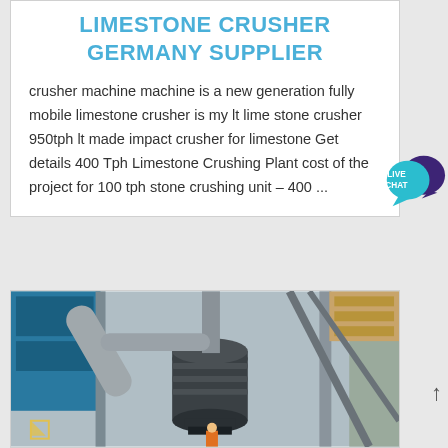LIMESTONE CRUSHER GERMANY SUPPLIER
crusher machine machine is a new generation fully mobile limestone crusher is my lt lime stone crusher 950tph lt made impact crusher for limestone Get details 400 Tph Limestone Crushing Plant cost of the project for 100 tph stone crushing unit – 400 ...
[Figure (photo): Industrial limestone crusher / grinding mill machine in a factory or plant setting. Large dark cylindrical mill with pipes and steel framework structure visible, blue and grey industrial building in background, worker visible at bottom.]